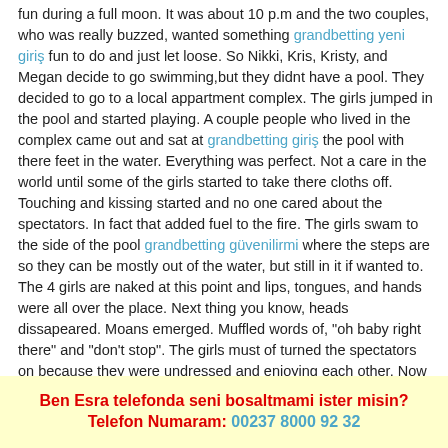fun during a full moon. It was about 10 p.m and the two couples, who was really buzzed, wanted something grandbetting yeni giriş fun to do and just let loose. So Nikki, Kris, Kristy, and Megan decide to go swimming,but they didnt have a pool. They decided to go to a local appartment complex. The girls jumped in the pool and started playing. A couple people who lived in the complex came out and sat at grandbetting giriş the pool with there feet in the water. Everything was perfect. Not a care in the world until some of the girls started to take there cloths off. Touching and kissing started and no one cared about the spectators. In fact that added fuel to the fire. The girls swam to the side of the pool grandbetting güvenilirmi where the steps are so they can be mostly out of the water, but still in it if wanted to. The 4 girls are naked at this point and lips, tongues, and hands were all over the place. Next thing you know, heads dissapeared. Moans emerged. Muffled words of, "oh baby right there" and "don't stop". The girls must of turned the spectators on because they were undressed and enjoying each other. Now the moral of this story is, be careful where you are who you are with on a full moon. In the end, it's all a group activity.This story really happened to me. It was one of the most hottest moments of my life.
Ben Esra telefonda seni bosaltmami ister misin? Telefon Numaram: 00237 8000 92 32